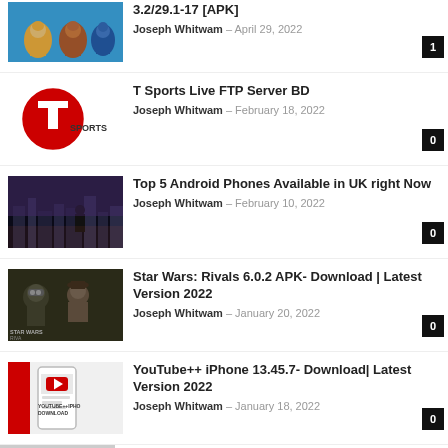3.2/29.1-17 [APK] — Joseph Whitwam — April 29, 2022 — badge: 1
T Sports Live FTP Server BD — Joseph Whitwam — February 18, 2022 — badge: 0
Top 5 Android Phones Available in UK right Now — Joseph Whitwam — February 10, 2022 — badge: 0
Star Wars: Rivals 6.0.2 APK- Download | Latest Version 2022 — Joseph Whitwam — January 20, 2022 — badge: 0
YouTube++ iPhone 13.45.7- Download| Latest Version 2022 — Joseph Whitwam — January 18, 2022 — badge: 0
[Figure (screenshot): Partial thumbnail of a game article at bottom]